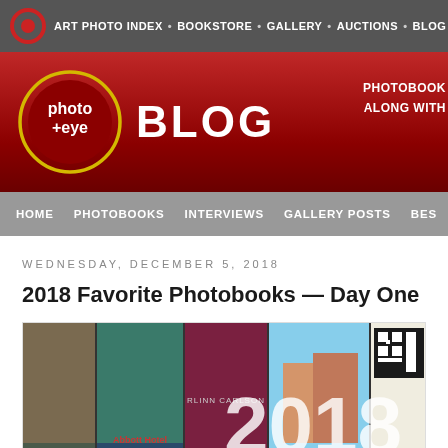ART PHOTO INDEX · BOOKSTORE · GALLERY · AUCTIONS · BLOG
[Figure (logo): photo-eye BLOG logo on red banner with circular eye logo. Right side shows partial text: PHOTOBOOK / ALONG WITH]
HOME  PHOTOBOOKS  INTERVIEWS  GALLERY POSTS  BES
WEDNESDAY, DECEMBER 5, 2018
2018 Favorite Photobooks — Day One
[Figure (photo): Collage image of various photobook covers with large white text '2018 FAVORITE' overlaid]